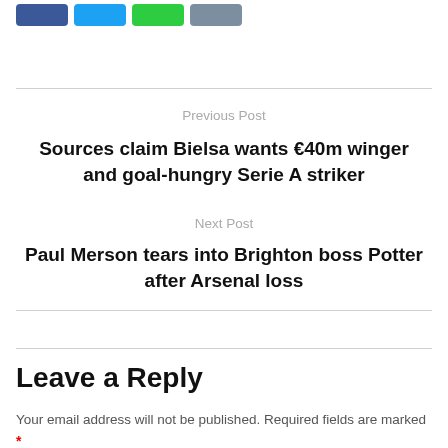[Figure (other): Four social share buttons: dark blue (Facebook), light blue (Twitter), green (WhatsApp/share), grey-blue (another share button)]
Previous Post
Sources claim Bielsa wants €40m winger and goal-hungry Serie A striker
Next Post
Paul Merson tears into Brighton boss Potter after Arsenal loss
Leave a Reply
Your email address will not be published. Required fields are marked *